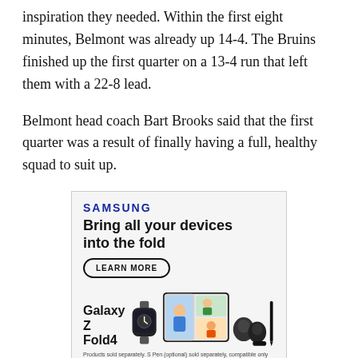inspiration they needed. Within the first eight minutes, Belmont was already up 14-4. The Bruins finished up the first quarter on a 13-4 run that left them with a 22-8 lead.
Belmont head coach Bart Brooks said that the first quarter was a result of finally having a full, healthy squad to suit up.
[Figure (illustration): Samsung advertisement: 'Bring all your devices into the fold' featuring Galaxy Z Fold4, with a LEARN MORE button, images of a smartwatch, foldable phone showing a video call, wireless earbuds, and an S Pen. Fine print reads: Products sold separately. S Pen (optional) sold separately, compatible only with main display. Requires S Pen Fold Edition or S Pen Pro.]